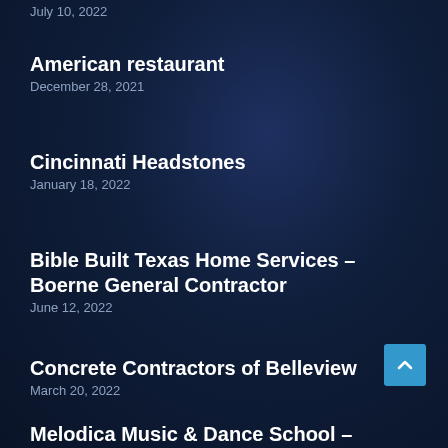American restaurant
December 28, 2021
Cincinnati Headstones
January 18, 2022
Bible Built Texas Home Services – Boerne General Contractor
June 12, 2022
Concrete Contractors of Belleview
March 20, 2022
Melodica Music & Dance School – Meadows
August 31, 2022